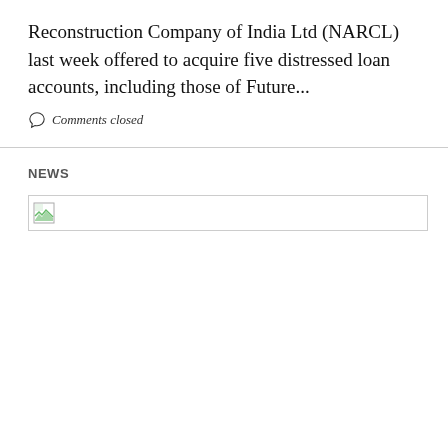Reconstruction Company of India Ltd (NARCL) last week offered to acquire five distressed loan accounts, including those of Future...
Comments closed
NEWS
[Figure (other): Broken/unloaded image placeholder thumbnail in a bordered box]